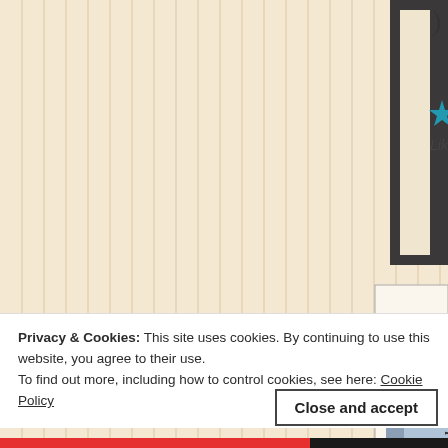[Figure (screenshot): Website screenshot showing a blog or personal page with a beige/cream background with vertical stripe lines, a dark-framed box in the top right corner, a profile photo of an older bald man with glasses in a light blue shirt, rotated italic text reading 'j l m a n d r i u' on the right side, a connector circle with a line pointing to the profile photo, and a cyan star with 'Like' text.]
Privacy & Cookies: This site uses cookies. By continuing to use this website, you agree to their use.
To find out more, including how to control cookies, see here: Cookie Policy
Close and accept